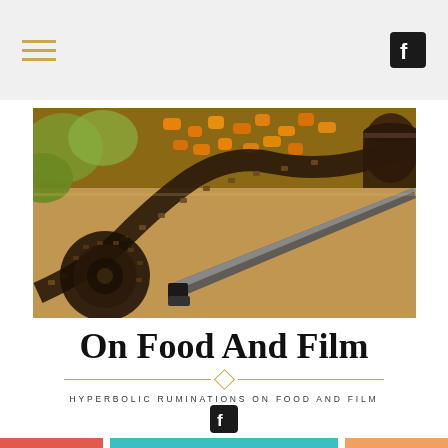Navigation bar with hamburger menu and Facebook icon
[Figure (photo): Close-up photo of a cutting board with carrots, celery, a large chef's knife, and a coiled strip of film negatives]
On Food And Film
HYPERBOLIC RUMINATIONS ON FOOD AND FILM
TACO SALAD IS DELISH